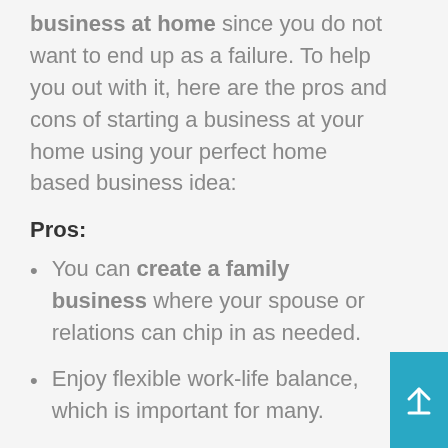business at home since you do not want to end up as a failure. To help you out with it, here are the pros and cons of starting a business at your home using your perfect home based business idea:
Pros:
You can create a family business where your spouse or relations can chip in as needed.
Enjoy flexible work-life balance, which is important for many.
You have the option to sell services or products internationally or locally.